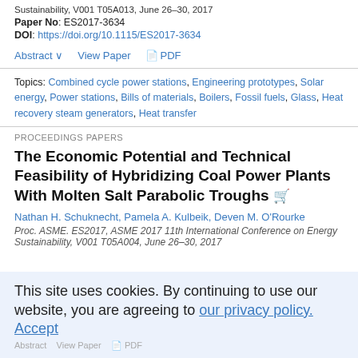Sustainability, V001 T05A013, June 26–30, 2017
Paper No: ES2017-3634
DOI: https://doi.org/10.1115/ES2017-3634
Abstract ∨   View Paper   PDF
Topics: Combined cycle power stations, Engineering prototypes, Solar energy, Power stations, Bills of materials, Boilers, Fossil fuels, Glass, Heat recovery steam generators, Heat transfer
PROCEEDINGS PAPERS
The Economic Potential and Technical Feasibility of Hybridizing Coal Power Plants With Molten Salt Parabolic Troughs
Nathan H. Schuknecht, Pamela A. Kulbeik, Deven M. O'Rourke
Proc. ASME. ES2017, ASME 2017 11th International Conference on Energy Sustainability, V001 T05A004, June 26–30, 2017
This site uses cookies. By continuing to use our website, you are agreeing to our privacy policy. Accept